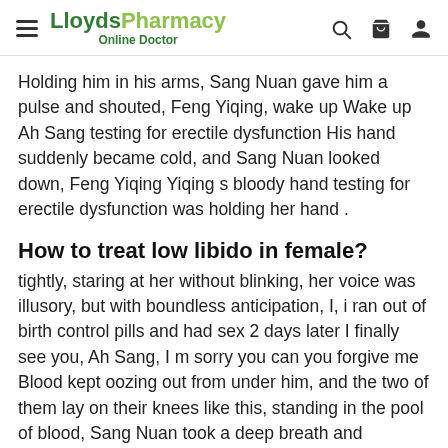LloydsPharmacy Online Doctor
Holding him in his arms, Sang Nuan gave him a pulse and shouted, Feng Yiqing, wake up Wake up Ah Sang testing for erectile dysfunction His hand suddenly became cold, and Sang Nuan looked down, Feng Yiqing Yiqing s bloody hand testing for erectile dysfunction was holding her hand .
How to treat low libido in female?
tightly, staring at her without blinking, her voice was illusory, but with boundless anticipation, I, i ran out of birth control pills and had sex 2 days later I finally see you, Ah Sang, I m sorry you can you forgive me Blood kept oozing out from under him, and the two of them lay on their knees like this, standing in the pool of blood, Sang Nuan took a deep breath and returned to hold the pain of cold testing for erectile dysfunction